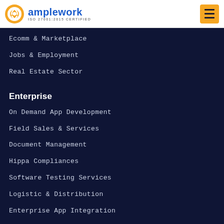[Figure (logo): Amplework logo with orange circular icon and blue text 'amplework' and 'ISO 27001:2015 CERTIFIED' subtitle]
Ecomm & Marketplace
Jobs & Employment
Real Estate Sector
Enterprise
On Demand App Development
Field Sales & Services
Document Management
Hippa Compliances
Software Testing Services
Logistic & Distribution
Enterprise App Integration
Cloud Infrastructure
Business Intelligence